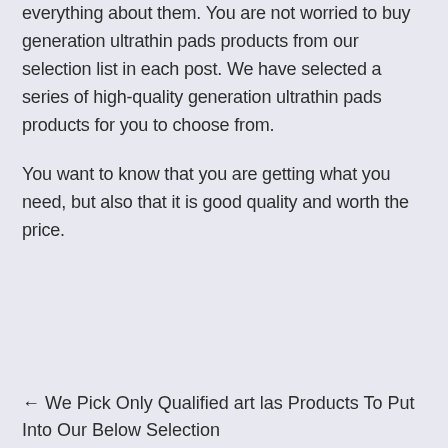Our team has scoured the internet for reviews on everything about them. You are not worried to buy generation ultrathin pads products from our selection list in each post. We have selected a series of high-quality generation ultrathin pads products for you to choose from.
You want to know that you are getting what you need, but also that it is good quality and worth the price.
← We Pick Only Qualified art las Products To Put Into Our Below Selection